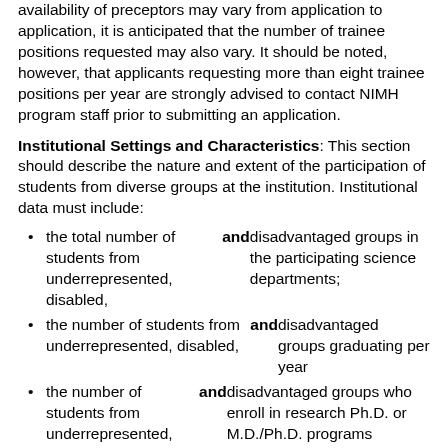availability of preceptors may vary from application to application, it is anticipated that the number of trainee positions requested may also vary. It should be noted, however, that applicants requesting more than eight trainee positions per year are strongly advised to contact NIMH program staff prior to submitting an application.
Institutional Settings and Characteristics: This section should describe the nature and extent of the participation of students from diverse groups at the institution. Institutional data must include:
the total number of students from underrepresented, disabled, and disadvantaged groups in the participating science departments;
the number of students from underrepresented, disabled, and disadvantaged groups graduating per year
the number of students from underrepresented, disabled, and disadvantaged groups who enroll in research Ph.D. or M.D./Ph.D. programs
This notice applies to applications for the May 12, 2009 and May 12, 2010 receipt dates.